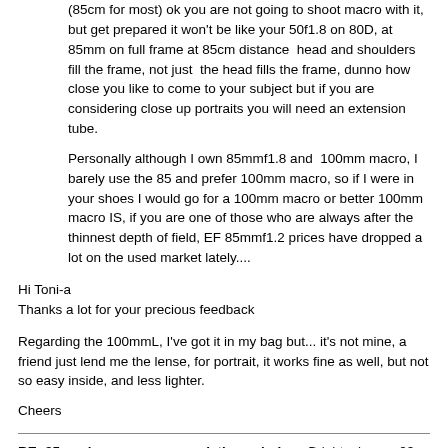(85cm for most) ok you are not going to shoot macro with it, but get prepared it won't be like your 50f1.8 on 80D, at 85mm on full frame at 85cm distance  head and shoulders fill the frame, not just  the head fills the frame, dunno how close you like to come to your subject but if you are considering close up portraits you will need an extension tube.
Personally although I own 85mmf1.8 and  100mm macro, I barely use the 85 and prefer 100mm macro, so if I were in your shoes I would go for a 100mm macro or better 100mm macro IS, if you are one of those who are always after the thinnest depth of field, EF 85mmf1.2 prices have dropped a lot on the used market lately....
Hi Toni-a
Thanks a lot for your precious feedback
Regarding the 100mmL, I've got it in my bag but... it's not mine, a friend just lend me the lense, for portrait, it works fine as well, but not so easy inside, and less lighter.
Cheers
RE: 85mm lenses recommendations choice - Brightcolours - 03-26-2020
That should be "if you were in my shoes" as you are the one preferring